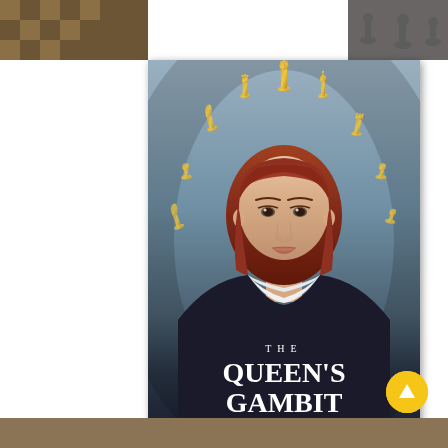[Figure (photo): The Queen's Gambit Netflix series promotional poster. A young woman with auburn bob haircut wearing a dark navy dress with white Peter Pan collar looks directly at viewer. Golden chess pieces are arranged in a halo/arc above her head. The title text 'THE QUEEN'S GAMBIT' appears in white serif font at the bottom of the poster. Background is a muted blue-grey gradient. Netflix logo visible at bottom right of poster.]